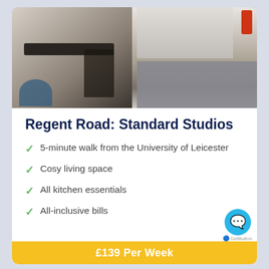[Figure (photo): Interior photo of a student studio apartment showing a dark desk with chair on the left panel and a kitchen with white cabinets and a bed with grey checked duvet on the right panel. A red fire extinguisher is visible on the wall.]
Regent Road: Standard Studios
5-minute walk from the University of Leicester
Cosy living space
All kitchen essentials
All-inclusive bills
£139 Per Week